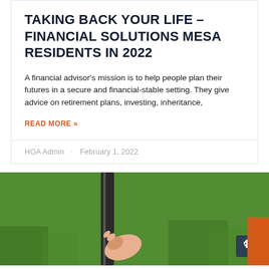TAKING BACK YOUR LIFE – FINANCIAL SOLUTIONS MESA RESIDENTS IN 2022
A financial advisor's mission is to help people plan their futures in a secure and financial-stable setting. They give advice on retirement plans, investing, inheritance,
READ MORE »
HOA Admin · February 1, 2022
[Figure (photo): Photo showing a hand gripping a dark metal rod or rail against a bright green artificial grass background. Orange scroll-back button and concierge tab visible in lower right corner.]